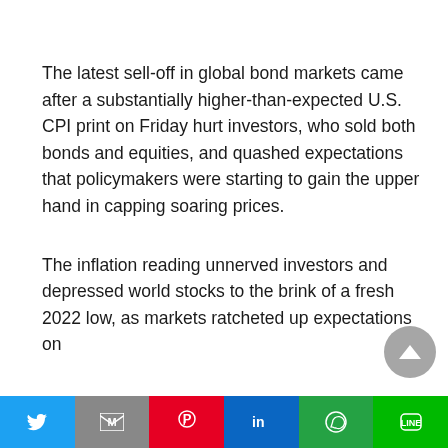The latest sell-off in global bond markets came after a substantially higher-than-expected U.S. CPI print on Friday hurt investors, who sold both bonds and equities, and quashed expectations that policymakers were starting to gain the upper hand in capping soaring prices.
The inflation reading unnerved investors and depressed world stocks to the brink of a fresh 2022 low, as markets ratcheted up expectations on...
[Figure (other): Social media share bar with Twitter, Gmail, Pinterest, LinkedIn, WhatsApp, and LINE buttons]